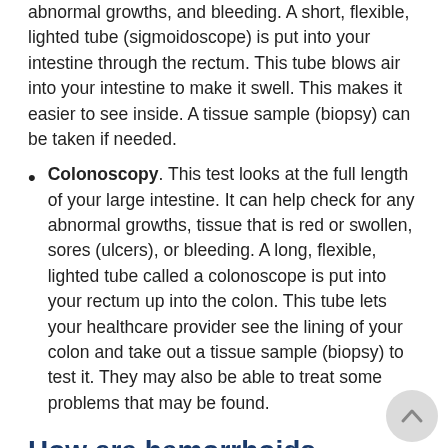abnormal growths, and bleeding. A short, flexible, lighted tube (sigmoidoscope) is put into your intestine through the rectum. This tube blows air into your intestine to make it swell. This makes it easier to see inside. A tissue sample (biopsy) can be taken if needed.
Colonoscopy. This test looks at the full length of your large intestine. It can help check for any abnormal growths, tissue that is red or swollen, sores (ulcers), or bleeding. A long, flexible, lighted tube called a colonoscope is put into your rectum up into the colon. This tube lets your healthcare provider see the lining of your colon and take out a tissue sample (biopsy) to test it. They may also be able to treat some problems that may be found.
How are hemorrhoids treated?
Treatment will depend on your symptoms, age, and